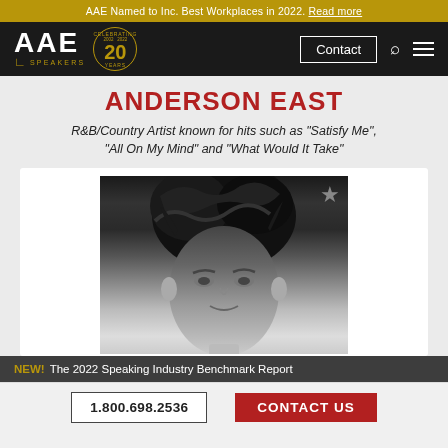AAE Named to Inc. Best Workplaces in 2022. Read more
[Figure (logo): AAE Speakers logo with 20 Years Celebrating badge and navigation bar with Contact button, search icon, and menu icon]
ANDERSON EAST
R&B/Country Artist known for hits such as "Satisfy Me", "All On My Mind" and "What Would It Take"
[Figure (photo): Black and white portrait photo of Anderson East with a star/bookmark icon in the top right corner]
NEW! The 2022 Speaking Industry Benchmark Report
1.800.698.2536
CONTACT US